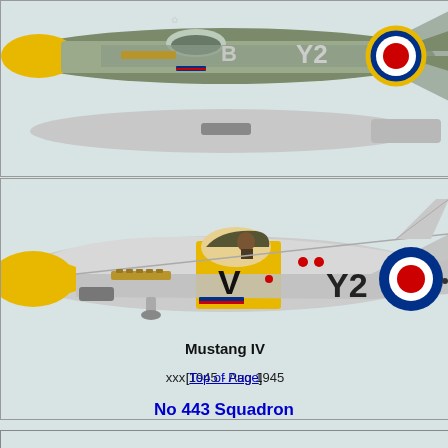[Figure (illustration): Top-down/side view of a WWII RAF Mustang aircraft in grey/olive scheme with yellow nose, markings 'B Y2' and RAF roundel]
[Figure (illustration): Side profile of a WWII RAF Mustang IV aircraft with yellow nose and fuselage band, markings 'V Y2' and RAF roundel]
Mustang IV
xxx 1945 - Aug 1945
[Top of Page]
No 443 Squadron